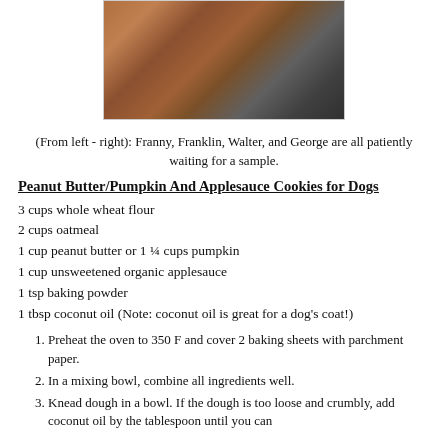[Figure (photo): Photo of dogs (Franny, Franklin, Walter, and George) waiting for a sample, viewed from above on a wooden surface]
(From left - right): Franny, Franklin, Walter, and George are all patiently waiting for a sample.
Peanut Butter/Pumpkin And Applesauce Cookies for Dogs
3 cups whole wheat flour
2 cups oatmeal
1 cup peanut butter or 1 ¼ cups pumpkin
1 cup unsweetened organic applesauce
1 tsp baking powder
1 tbsp coconut oil (Note: coconut oil is great for a dog's coat!)
1. Preheat the oven to 350 F and cover 2 baking sheets with parchment paper.
2. In a mixing bowl, combine all ingredients well.
3. Knead dough in a bowl. If the dough is too loose and crumbly, add coconut oil by the tablespoon until you can…